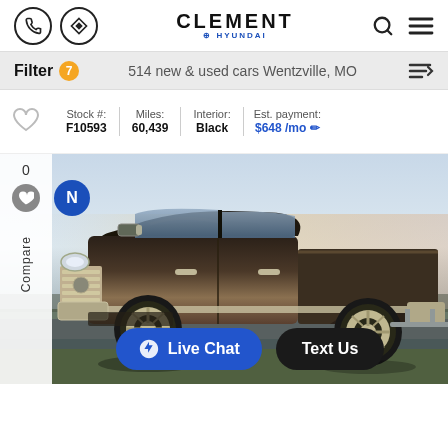Clement Hyundai — Navigation header with phone, directions, search, and menu icons
Filter 7 — 514 new & used cars Wentzville, MO
Stock #: F10593 | Miles: 60,439 | Interior: Black | Est. payment: $648 /mo
[Figure (photo): A dark bronze/black Ram 1500 pickup truck parked on a road at sunset, photographed from the driver's side. The truck has chrome grille, mirrors, and 20-inch chrome wheels. Side panel shows '0', heart icon, and 'Compare'. A blue circle badge with 'N' is visible top-left of the vehicle area.]
Live Chat
Text Us